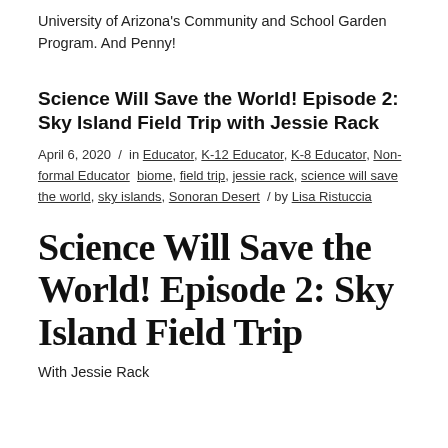University of Arizona's Community and School Garden Program. And Penny!
Science Will Save the World! Episode 2: Sky Island Field Trip with Jessie Rack
April 6, 2020 / in Educator, K-12 Educator, K-8 Educator, Non-formal Educator biome, field trip, jessie rack, science will save the world, sky islands, Sonoran Desert / by Lisa Ristuccia
Science Will Save the World! Episode 2: Sky Island Field Trip
With Jessie Rack